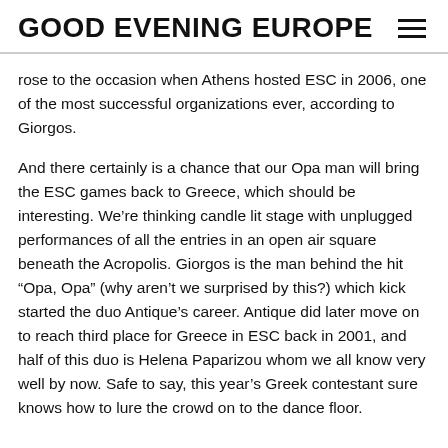GOOD EVENING EUROPE
rose to the occasion when Athens hosted ESC in 2006, one of the most successful organizations ever, according to Giorgos.
And there certainly is a chance that our Opa man will bring the ESC games back to Greece, which should be interesting. We’re thinking candle lit stage with unplugged performances of all the entries in an open air square beneath the Acropolis. Giorgos is the man behind the hit “Opa, Opa” (why aren’t we surprised by this?) which kick started the duo Antique’s career. Antique did later move on to reach third place for Greece in ESC back in 2001, and half of this duo is Helena Paparizou whom we all know very well by now. Safe to say, this year’s Greek contestant sure knows how to lure the crowd on to the dance floor.